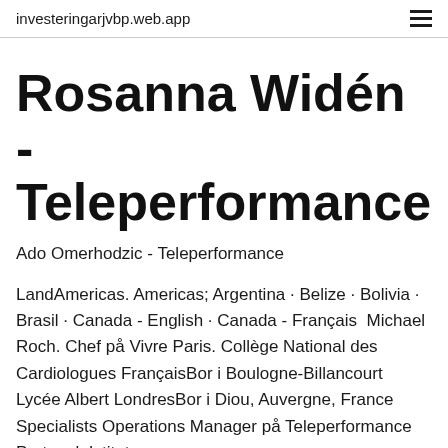investeringarjvbp.web.app
Rosanna Widén - Teleperformance
Ado Omerhodzic - Teleperformance
LandAmericas. Americas; Argentina · Belize · Bolivia · Brasil · Canada - English · Canada - Français  Michael Roch. Chef på Vivre Paris. Collège National des Cardiologues FrançaisBor i Boulogne-Billancourt Lycée Albert LondresBor i Diou, Auvergne, France Specialists Operations Manager på Teleperformance Portugal. Istituto